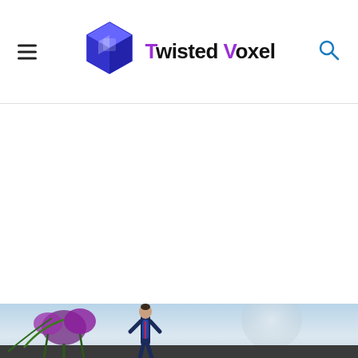Twisted Voxel
[Figure (illustration): White advertisement area (blank/loading ad space)]
[Figure (screenshot): Game screenshot showing a female character in a blue suit standing in a sci-fi alien landscape with purple flora and a large moon in the background]